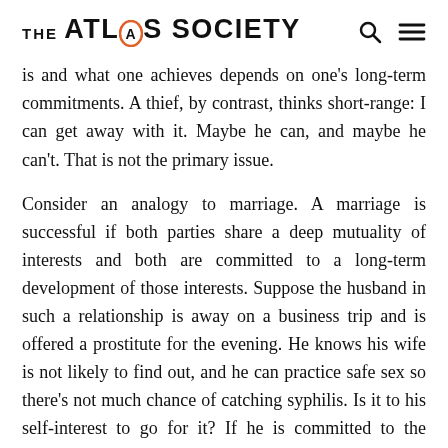THE ATLAS SOCIETY
is and what one achieves depends on one's long-term commitments. A thief, by contrast, thinks short-range: I can get away with it. Maybe he can, and maybe he can't. That is not the primary issue.
Consider an analogy to marriage. A marriage is successful if both parties share a deep mutuality of interests and both are committed to a long-term development of those interests. Suppose the husband in such a relationship is away on a business trip and is offered a prostitute for the evening. He knows his wife is not likely to find out, and he can practice safe sex so there’s not much chance of catching syphilis. Is it to his self-interest to go for it? If he is committed to the marriage, then clearly not: Sleeping with a prostitute destroys the integrity of the marriage. But if he is not